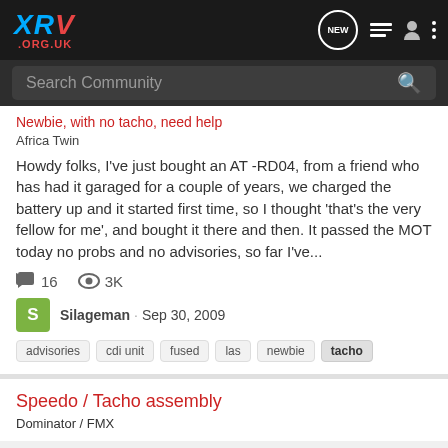XRV .ORG.UK
Search Community
Newbie, with no tacho, need help
Africa Twin
Howdy folks, I've just bought an AT -RD04, from a friend who has had it garaged for a couple of years, we charged the battery up and it started first time, so I thought 'that's the very fellow for me', and bought it there and then. It passed the MOT today no probs and no advisories, so far I've...
16  3K
Silageman · Sep 30, 2009
advisories  cdi unit  fused  las  newbie  tacho
Speedo / Tacho assembly
Dominator / FMX